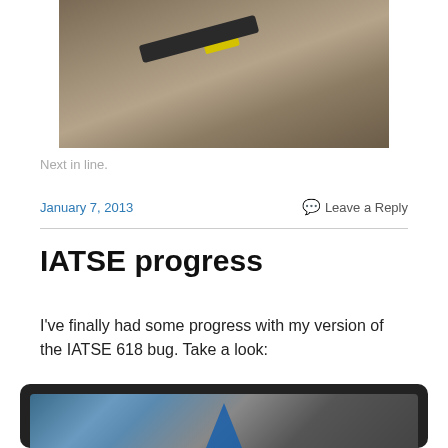[Figure (photo): Photo of tools on sandy ground, partially visible at top of page]
Next in line.
January 7, 2013    Leave a Reply
IATSE progress
I've finally had some progress with my version of the IATSE 618 bug.  Take a look:
[Figure (photo): Photo of IATSE-related materials including blue logo/badge on dark background, partially visible at bottom of page]